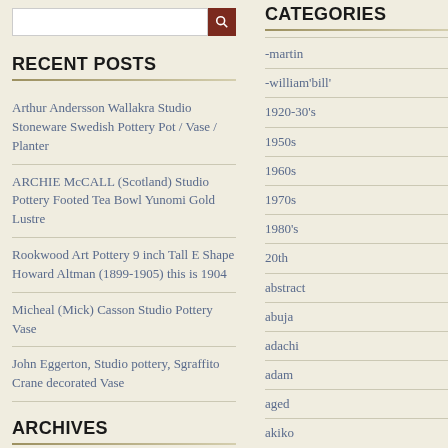RECENT POSTS
Arthur Andersson Wallakra Studio Stoneware Swedish Pottery Pot / Vase / Planter
ARCHIE McCALL (Scotland) Studio Pottery Footed Tea Bowl Yunomi Gold Lustre
Rookwood Art Pottery 9 inch Tall E Shape Howard Altman (1899-1905) this is 1904
Micheal (Mick) Casson Studio Pottery Vase
John Eggerton, Studio pottery, Sgraffito Crane decorated Vase
ARCHIVES
CATEGORIES
-martin
-william'bill'
1920-30's
1950s
1960s
1970s
1980's
20th
abstract
abuja
adachi
adam
aged
akiko